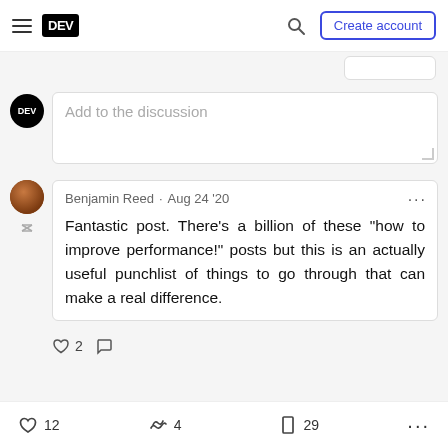DEV — Create account
Add to the discussion
Benjamin Reed · Aug 24 '20
Fantastic post. There's a billion of these "how to improve performance!" posts but this is an actually useful punchlist of things to go through that can make a real difference.
♡ 2  ○
♡ 12   𝆕 4   □ 29   ...